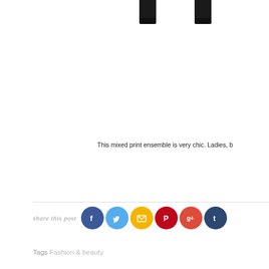[Figure (photo): Fashion photo showing lower half of a person wearing black and white patterned cropped trousers, holding a teal/multicolor clutch bag, wearing black wedge sandals]
This mixed print ensemble is very chic. Ladies, b
share this post
Tags Fashion & beauty